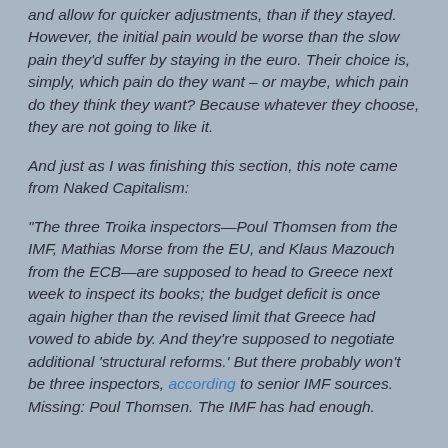and allow for quicker adjustments, than if they stayed. However, the initial pain would be worse than the slow pain they'd suffer by staying in the euro. Their choice is, simply, which pain do they want – or maybe, which pain do they think they want? Because whatever they choose, they are not going to like it.
And just as I was finishing this section, this note came from Naked Capitalism:
"The three Troika inspectors—Poul Thomsen from the IMF, Mathias Morse from the EU, and Klaus Mazouch from the ECB—are supposed to head to Greece next week to inspect its books; the budget deficit is once again higher than the revised limit that Greece had vowed to abide by. And they're supposed to negotiate additional 'structural reforms.' But there probably won't be three inspectors, according to senior IMF sources. Missing: Poul Thomsen. The IMF has had enough.